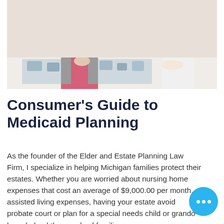[Figure (photo): An elderly woman and a healthcare worker/nurse sitting at a table working on a puzzle together. The elderly woman wears a pink shirt and gray cardigan; the nurse wears a white uniform.]
Consumer's Guide to Medicaid Planning
As the founder of the Elder and Estate Planning Law Firm, I specialize in helping Michigan families protect their estates. Whether you are worried about nursing home expenses that cost an average of $9,000.00 per month, assisted living expenses, having your estate avoid probate court or planning for a special needs child or grandchild, have helped thousands of families